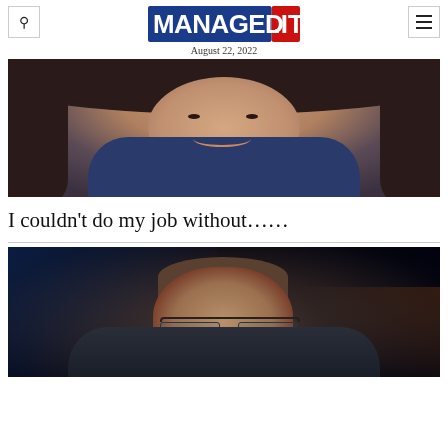MANAGED.IT — August 22, 2022
[Figure (photo): Portrait photo of a smiling woman with dark hair wearing navy blue scrubs, photographed against a dark background]
I couldn't do my job without……
[Figure (photo): Portrait photo of a man wearing glasses, photographed against a very dark background with blue and orange light accents]